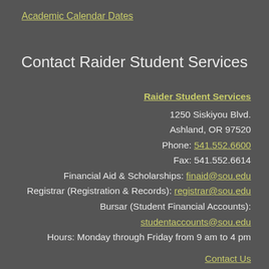Academic Calendar Dates
Contact Raider Student Services
Raider Student Services
1250 Siskiyou Blvd.
Ashland, OR 97520
Phone: 541.552.6600
Fax: 541.552.6614
Financial Aid & Scholarships: finaid@sou.edu
Registrar (Registration & Records): registrar@sou.edu
Bursar (Student Financial Accounts):
studentaccounts@sou.edu
Hours: Monday through Friday from 9 am to 4 pm
Contact Us